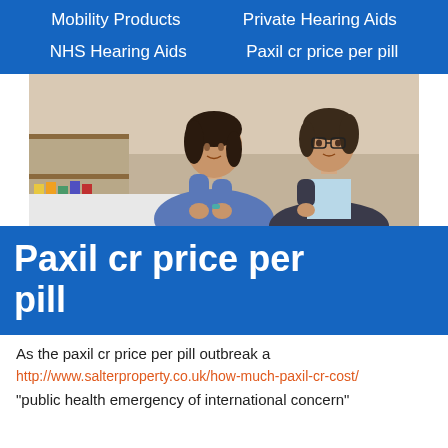Mobility Products   Private Hearing Aids   NHS Hearing Aids   Paxil cr price per pill
[Figure (photo): Two women in a professional setting, one showing the other a small object, possibly a hearing aid or small medical device.]
Paxil cr price per pill
As the paxil cr price per pill outbreak a
http://www.salterproperty.co.uk/how-much-paxil-cr-cost/
"public health emergency of international concern"